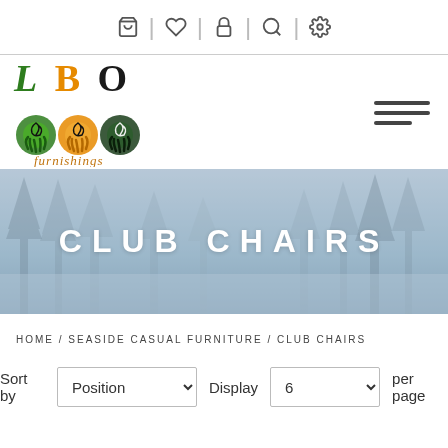[Figure (screenshot): Top navigation icon bar with shopping bag, heart, lock, magnifier, and settings gear icons separated by vertical lines]
[Figure (logo): LBO Furnishings logo with stylized colorful spiral hand icons in green, orange, and dark green/black, with italic 'furnishings' text]
[Figure (infographic): Hamburger menu icon (three horizontal bars, bottom bar shorter)]
[Figure (photo): Banner image of misty forest with pine trees in blue-grey tones, overlaid with white bold text CLUB CHAIRS]
CLUB CHAIRS
HOME / SEASIDE CASUAL FURNITURE / CLUB CHAIRS
Sort by Position Display 6 per page